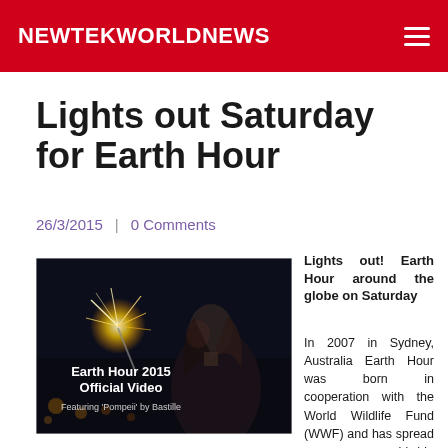NEWTEKWORLDNEWS
Lights out Saturday for Earth Hour
26/3/2015  |  0 Comments
[Figure (photo): Earth Hour 2015 Official Video featuring 'Pompeii' by Bastille — a girl holding a sparkler in the dark]
Lights out! Earth Hour around the globe on Saturday
In 2007 in Sydney, Australia Earth Hour was born in cooperation with the World Wildlife Fund (WWF) and has spread as a worldwide grassroots movement to focus attention on protecting the planet, the inhabitants and climate change. Earth Hour is celebrated once a year and this year it's